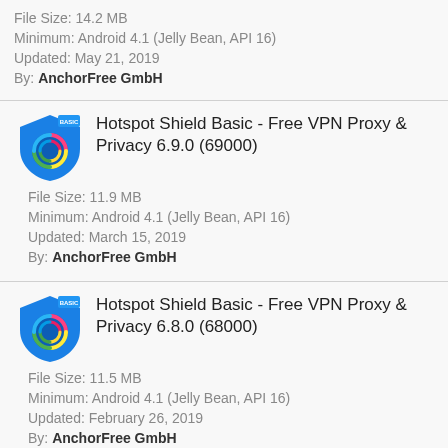File Size: 14.2 MB
Minimum: Android 4.1 (Jelly Bean, API 16)
Updated: May 21, 2019
By: AnchorFree GmbH
Hotspot Shield Basic - Free VPN Proxy & Privacy 6.9.0 (69000)
File Size: 11.9 MB
Minimum: Android 4.1 (Jelly Bean, API 16)
Updated: March 15, 2019
By: AnchorFree GmbH
Hotspot Shield Basic - Free VPN Proxy & Privacy 6.8.0 (68000)
File Size: 11.5 MB
Minimum: Android 4.1 (Jelly Bean, API 16)
Updated: February 26, 2019
By: AnchorFree GmbH